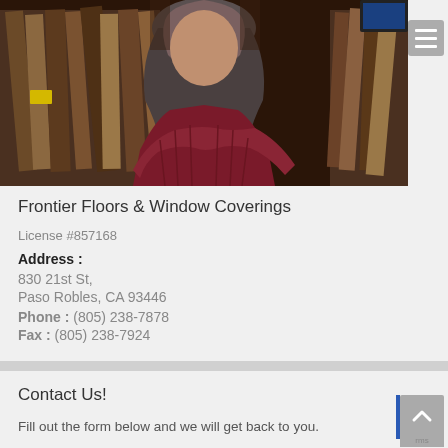[Figure (photo): A woman with long curly gray hair wearing a dark maroon cable-knit sweater with arms crossed, standing in front of flooring samples displayed on racks in a store interior.]
Frontier Floors & Window Coverings
License #857168
Address :
830 21st St,
Paso Robles, CA 93446
Phone : (805) 238-7878
Fax : (805) 238-7924
Contact Us!
Fill out the form below and we will get back to you.